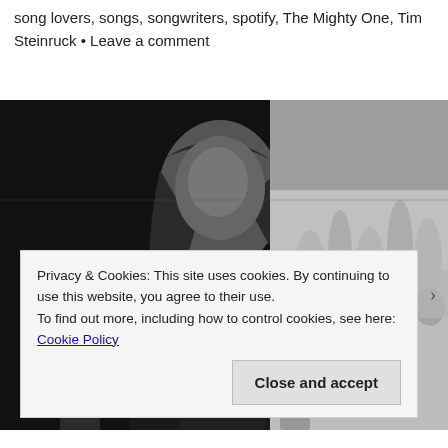song lovers, songs, songwriters, spotify, The Mighty One, Tim Steinruck • Leave a comment
[Figure (photo): Black and white photo of a young man with long hair in a dark shirt, standing in what appears to be a concert venue. The right side shows a blurred crowd in soft grayscale tones.]
Privacy & Cookies: This site uses cookies. By continuing to use this website, you agree to their use.
To find out more, including how to control cookies, see here: Cookie Policy
Close and accept